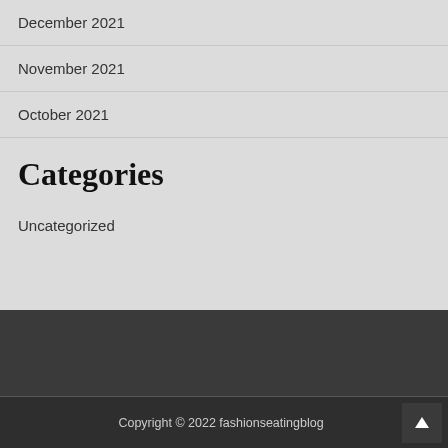December 2021
November 2021
October 2021
Categories
Uncategorized
Copyright © 2022 fashionseatingblog